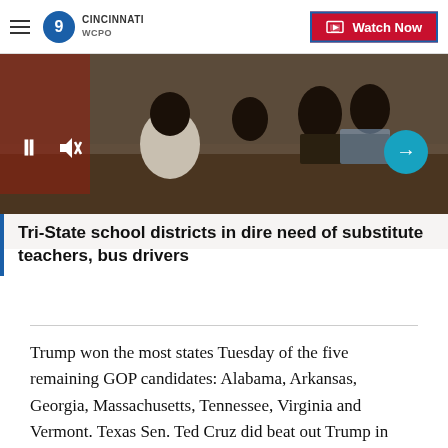WCPO 9 CINCINNATI | Watch Now
[Figure (screenshot): Video thumbnail showing students in a classroom, with play/pause controls and a next arrow button overlaid. A 'Tri-State school districts in dire need of substitute teachers, bus drivers' title banner is at the bottom.]
Tri-State school districts in dire need of substitute teachers, bus drivers
Trump won the most states Tuesday of the five remaining GOP candidates: Alabama, Arkansas, Georgia, Massachusetts, Tennessee, Virginia and Vermont. Texas Sen. Ted Cruz did beat out Trump in three locations: his home state of Texas, neighboring Oklahoma and Alaska, while Florida Sen. Marco Rubio got his only victory in Minnesota.